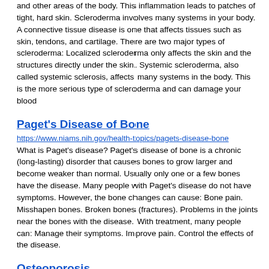and other areas of the body. This inflammation leads to patches of tight, hard skin. Scleroderma involves many systems in your body. A connective tissue disease is one that affects tissues such as skin, tendons, and cartilage. There are two major types of scleroderma: Localized scleroderma only affects the skin and the structures directly under the skin. Systemic scleroderma, also called systemic sclerosis, affects many systems in the body. This is the more serious type of scleroderma and can damage your blood
Paget's Disease of Bone
https://www.niams.nih.gov/health-topics/pagets-disease-bone
What is Paget's disease? Paget's disease of bone is a chronic (long-lasting) disorder that causes bones to grow larger and become weaker than normal. Usually only one or a few bones have the disease. Many people with Paget's disease do not have symptoms. However, the bone changes can cause: Bone pain. Misshapen bones. Broken bones (fractures). Problems in the joints near the bones with the disease. With treatment, many people can: Manage their symptoms. Improve pain. Control the effects of the disease.
Osteoporosis
https://www.niams.nih.gov/health-topics/osteoporosis
What is osteoporosis? Osteoporosis is a disease that causes bones